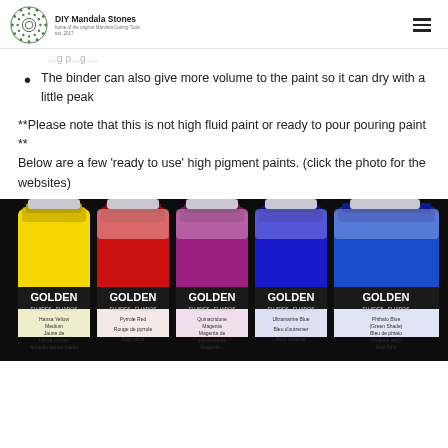DIY Mandala Stones
...g p...g...
The binder can also give more volume to the paint so it can dry with a little peak
**Please note that this is not high fluid paint or ready to pour pouring paint **
Below are a few 'ready to use' high pigment paints. (click the photo for the websites)
[Figure (photo): Five bottles of Golden Fluids acrylic paint in a row against a black background. Colors from left to right: Hansa Yellow Medium (yellow), Pyrrole Red (red), Quinacridone Magenta (purple/magenta), Ultramarine Blue (blue), Phthalo Blue Green Shade (blue). Labels show GOLDEN FLUIDS branding.]